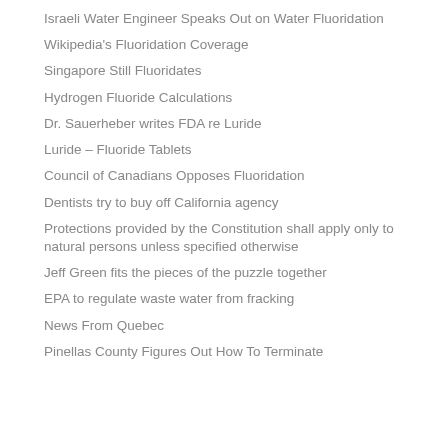Israeli Water Engineer Speaks Out on Water Fluoridation
Wikipedia's Fluoridation Coverage
Singapore Still Fluoridates
Hydrogen Fluoride Calculations
Dr. Sauerheber writes FDA re Luride
Luride – Fluoride Tablets
Council of Canadians Opposes Fluoridation
Dentists try to buy off California agency
Protections provided by the Constitution shall apply only to natural persons unless specified otherwise
Jeff Green fits the pieces of the puzzle together
EPA to regulate waste water from fracking
News From Quebec
Pinellas County Figures Out How To Terminate